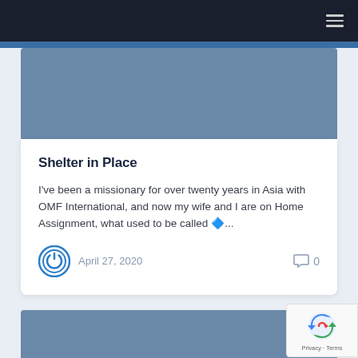[Figure (screenshot): Website navigation bar with dark background and hamburger menu icon on the right]
[Figure (photo): Blue-gray hero image placeholder at top of article card]
Shelter in Place
I've been a missionary for over twenty years in Asia with OMF International, and now my wife and I are on Home Assignment, what used to be called 🔷...
April 27, 2020   0
[Figure (photo): Partial blue-gray hero image at bottom of page]
[Figure (screenshot): reCAPTCHA badge in bottom right corner showing Privacy and Terms links]